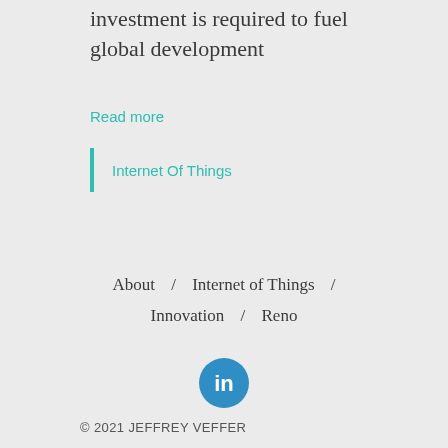investment is required to fuel global development
Read more
Internet Of Things
About  /  Internet of Things  /  Innovation  /  Reno
[Figure (logo): LinkedIn logo — blue circle with white 'in' text]
© 2021 JEFFREY VEFFER